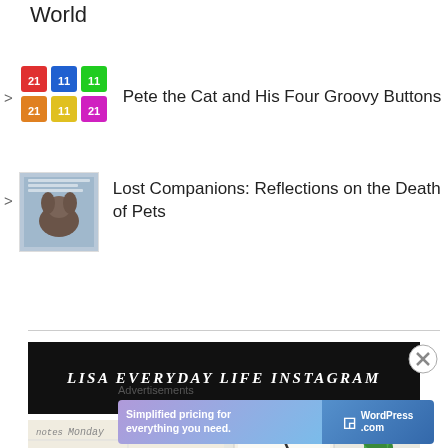World
Pete the Cat and His Four Groovy Buttons
Lost Companions: Reflections on the Death of Pets
LISA EVERYDAY LIFE INSTAGRAM
[Figure (photo): Two photos side by side: left shows a planner/bullet journal with handwritten notes, dates (Monday, Tuesday), and the word Peaches; right shows a notebook with a pen and a small green plant on a white surface.]
Advertisements
[Figure (infographic): WordPress.com advertisement banner: 'Simplified pricing for everything you need.' with WordPress.com logo on blue/purple gradient background.]